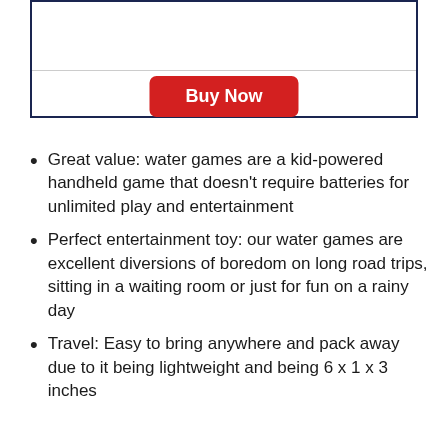[Figure (other): Product listing box with a horizontal divider line and a red Buy Now button]
Great value: water games are a kid-powered handheld game that doesn't require batteries for unlimited play and entertainment
Perfect entertainment toy: our water games are excellent diversions of boredom on long road trips, sitting in a waiting room or just for fun on a rainy day
Travel: Easy to bring anywhere and pack away due to it being lightweight and being 6 x 1 x 3 inches